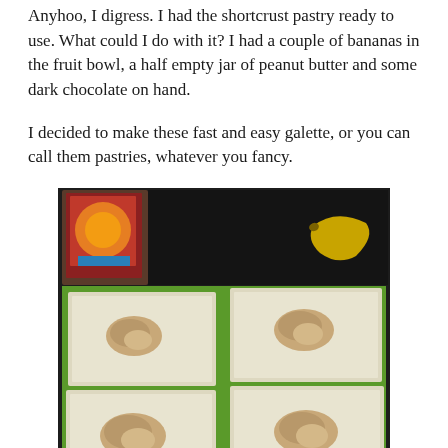Anyhoo, I digress. I had the shortcrust pastry ready to use. What could I do with it? I had a couple of bananas in the fruit bowl, a half empty jar of peanut butter and some dark chocolate on hand.
I decided to make these fast and easy galette, or you can call them pastries, whatever you fancy.
[Figure (photo): Photo of six squares of shortcrust pastry laid out on a green cutting board on a dark kitchen counter, each with a mound of mashed banana and peanut butter filling in the centre. A banana is visible in the top right background.]